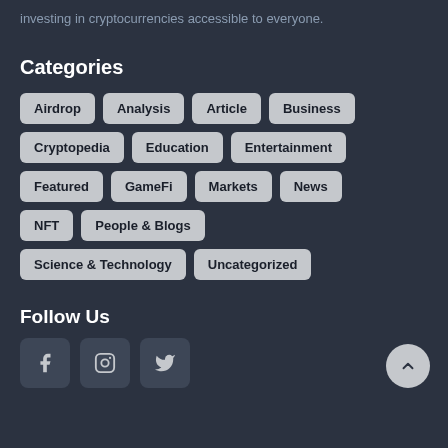investing in cryptocurrencies accessible to everyone.
Categories
Airdrop
Analysis
Article
Business
Cryptopedia
Education
Entertainment
Featured
GameFi
Markets
News
NFT
People & Blogs
Science & Technology
Uncategorized
Follow Us